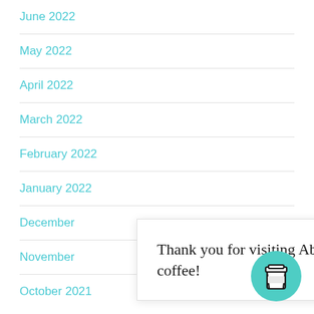June 2022
May 2022
April 2022
March 2022
February 2022
January 2022
December
November
October 2021
Thank you for visiting Abundant Life Tarot. You can now buy me a coffee!